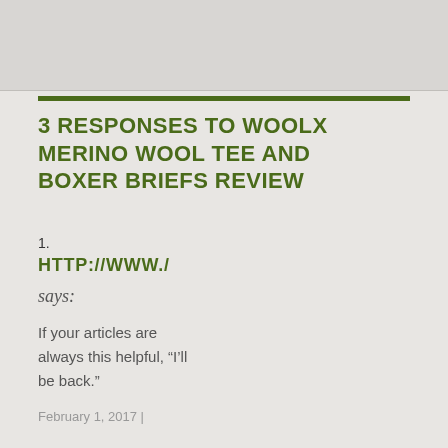3 RESPONSES TO WOOLX MERINO WOOL TEE AND BOXER BRIEFS REVIEW
1. HTTP://WWW./
says:
If your articles are always this helpful, “I’ll be back.”
February 1, 2017 |